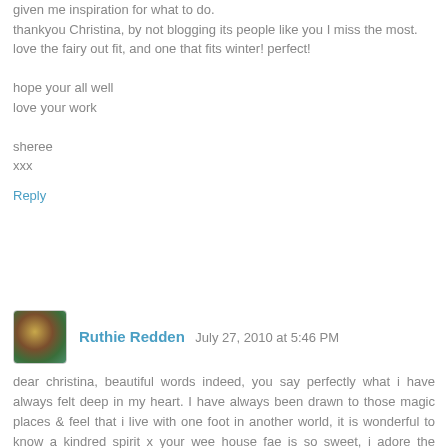given me inspiration for what to do.
thankyou Christina, by not blogging its people like you I miss the most.
love the fairy out fit, and one that fits winter! perfect!

hope your all well
love your work

sheree
xxx
Reply
Ruthie Redden  July 27, 2010 at 5:46 PM
dear christina, beautiful words indeed, you say perfectly what i have always felt deep in my heart. I have always been drawn to those magic places & feel that i live with one foot in another world, it is wonderful to know a kindred spirit x your wee house fae is so sweet, i adore the costumes !!!
Reply